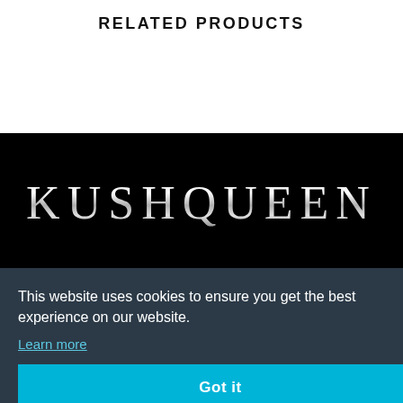RELATED PRODUCTS
[Figure (logo): KUSHQUEEN logo in metallic silver serif lettering on black background]
This website uses cookies to ensure you get the best experience on our website.
Learn more
Got it